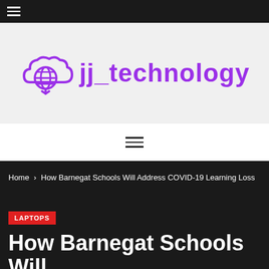≡
[Figure (logo): jj_technology logo with cloud and globe icon in purple, text 'jj_technology' in bold purple]
≡ (navigation menu icon)
Home > How Barnegat Schools Will Address COVID-19 Learning Loss
LAPTOPS
How Barnegat Schools Will